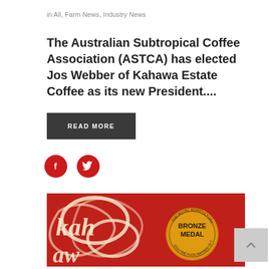in All, Farm News, Industry News
The Australian Subtropical Coffee Association (ASTCA) has elected Jos Webber of Kahawa Estate Coffee as its new President....
READ MORE
[Figure (illustration): Two circular red social media icon buttons: Facebook (f) and Twitter (bird) icons in white on dark red circles]
[Figure (photo): Close-up photograph of a red Kahawa coffee product package with cursive white text and a gold/orange circular 'Bronze Medal - The Royal Agricultural Society of Tasmania 2018 Fine Food Awards' badge]